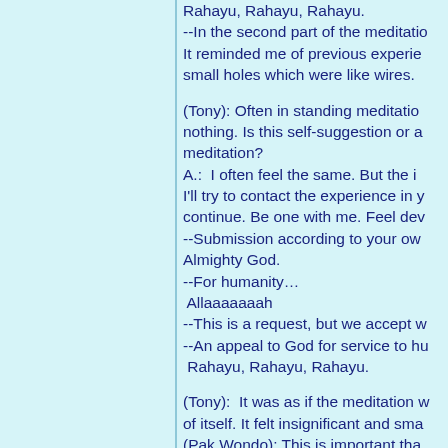Rahayu, Rahayu, Rahayu.
--In the second part of the meditation. It reminded me of previous experiences, small holes which were like wires.

(Tony): Often in standing meditation, nothing. Is this self-suggestion or a meditation?
A.:  I often feel the same. But the I'll try to contact the experience in you, continue. Be one with me. Feel dev
--Submission according to your own Almighty God.
--For humanity…
 Allaaaaaaah
--This is a request, but we accept w
--An appeal to God for service to hu
 Rahayu, Rahayu, Rahayu.

(Tony):  It was as if the meditation w of itself. It felt insignificant and sma
(Pak Wondo): This is important that only function as a tool. Be grateful f you are right or not.
(Tony):  I felt if Pak Wondo pushed advance. It seems that I was also...